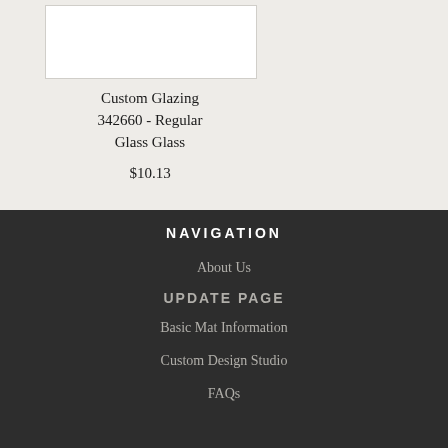[Figure (photo): White product image box showing a custom glazing glass product thumbnail]
Custom Glazing 342660 - Regular Glass Glass
$10.13
NAVIGATION
About Us
UPDATE PAGE
Basic Mat Information
Custom Design Studio
FAQs